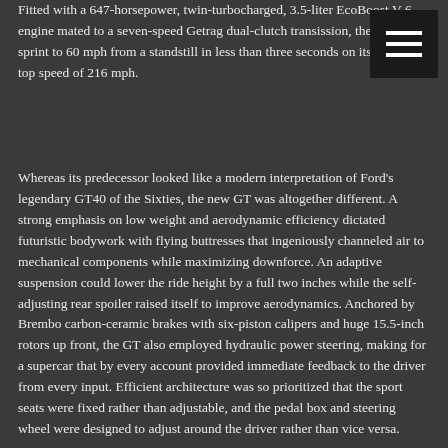Fitted with a 647-horsepower, twin-turbocharged, 3.5-liter EcoBoost V-6 engine mated to a seven-speed Getrag dual-clutch transmission, the GT could sprint to 60 mph from a standstill in less than three seconds on its way to a top speed of 216 mph.
[Figure (other): Hamburger menu button icon — three horizontal white lines on dark background]
Whereas its predecessor looked like a modern interpretation of Ford's legendary GT40 of the Sixties, the new GT was altogether different. A strong emphasis on low weight and aerodynamic efficiency dictated futuristic bodywork with flying buttresses that ingeniously channeled air to mechanical components while maximizing downforce. An adaptive suspension could lower the ride height by a full two inches while the self-adjusting rear spoiler raised itself to improve aerodynamics. Anchored by Brembo carbon-ceramic brakes with six-piston calipers and huge 15.5-inch rotors up front, the GT also employed hydraulic power steering, making for a supercar that by every account provided immediate feedback to the driver from every input. Efficient architecture was so prioritized that the sport seats were fixed rather than adjustable, and the pedal box and steering wheel were designed to adjust around the driver rather than vice versa.
Demand for Ford's newest supercar was insatiable from the outset. Ford implemented a rigid application process for the privilege of buying one, handpicking loyal Ford enthusiasts and mandating that they keep their cars for an extended period. Applications quickly outnumbered available chassis allotments by nearly tenfold at the model's official launch.